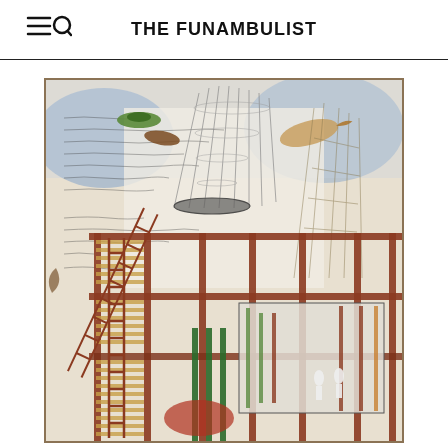THE FUNAMBULIST
[Figure (illustration): A complex architectural drawing/collage artwork showing scaffolding, construction frameworks, ladders, and structural elements rendered in a mixed-media style with handwritten notes, watercolor washes in blue and brown tones, and detailed line work depicting an architectural or industrial construction scene.]